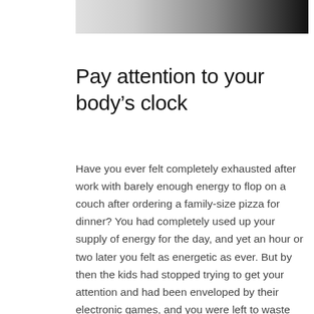[Figure (photo): A gradient image strip at the top of the page, transitioning from light gray/white to dark black.]
Pay attention to your body’s clock
Have you ever felt completely exhausted after work with barely enough energy to flop on a couch after ordering a family-size pizza for dinner? You had completely used up your supply of energy for the day, and yet an hour or two later you felt as energetic as ever. But by then the kids had stopped trying to get your attention and had been enveloped by their electronic games, and you were left to waste this “second wind” on TV and social media. If so, you are not alone. Relatively few people have learned to take